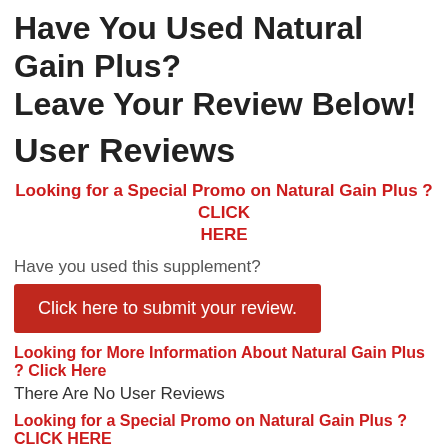Have You Used Natural Gain Plus? Leave Your Review Below!
User Reviews
Looking for a Special Promo on Natural Gain Plus ? CLICK HERE
Have you used this supplement?
Click here to submit your review.
Looking for More Information About Natural Gain Plus ? Click Here
There Are No User Reviews
Looking for a Special Promo on Natural Gain Plus ? CLICK HERE
Ask A Question